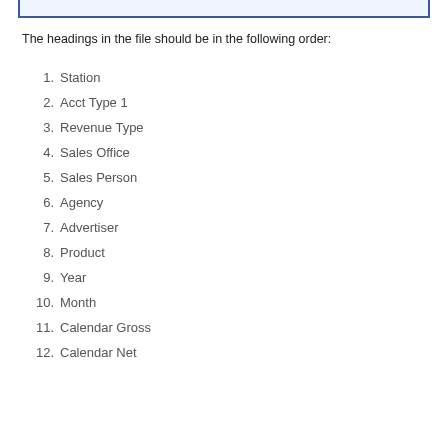[Figure (screenshot): Top portion of a document window showing a blue-bordered content area]
The headings in the file should be in the following order:
1.  Station
2.  Acct Type 1
3.  Revenue Type
4.  Sales Office
5.  Sales Person
6.  Agency
7.  Advertiser
8.  Product
9.  Year
10.  Month
11.  Calendar Gross
12.  Calendar Net